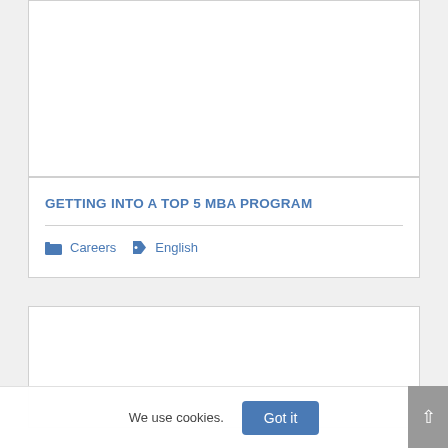[Figure (other): Top card image area - white/blank content box]
GETTING INTO A TOP 5 MBA PROGRAM
Careers   English
[Figure (other): Bottom card image area - white/blank content box]
We use cookies.
Got it